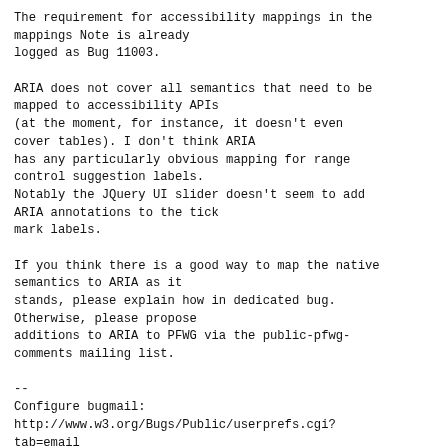The requirement for accessibility mappings in the mappings Note is already
logged as Bug 11003.

ARIA does not cover all semantics that need to be mapped to accessibility APIs
(at the moment, for instance, it doesn't even cover tables). I don't think ARIA
has any particularly obvious mapping for range control suggestion labels.
Notably the JQuery UI slider doesn't seem to add ARIA annotations to the tick
mark labels.

If you think there is a good way to map the native semantics to ARIA as it
stands, please explain how in dedicated bug. Otherwise, please propose
additions to ARIA to PFWG via the public-pfwg-comments mailing list.

--
Configure bugmail:
http://www.w3.org/Bugs/Public/userprefs.cgi?tab=email
------- You are receiving this mail because: -------
You are the QA contact for the bug.